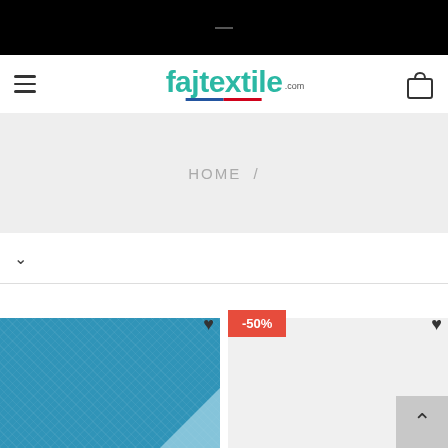[Figure (screenshot): Black top navigation bar with a small dash/minus element centered]
fajtextile.com — navigation header with hamburger menu and cart icon
HOME /
[Figure (photo): Blue fabric/textile product image with fold corner effect and heart wishlist icon]
[Figure (photo): Product card with -50% sale badge on red background, heart icon, and back-to-top button]